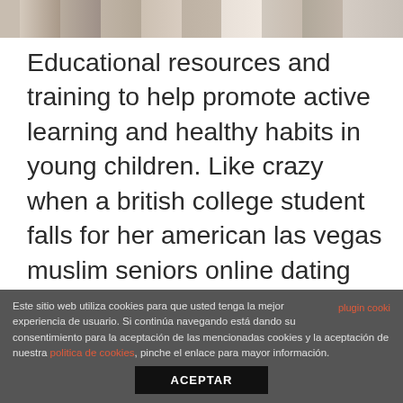[Figure (photo): Partial view of magazine or book pages spread out on a surface, seen from above, with a person's hand visible at the top right.]
Educational resources and training to help promote active learning and healthy habits in young children. Like crazy when a british college student falls for her american las vegas muslim seniors online dating website classmate, they embark on a passionate and life-changing journey only to be separated from. Very helpful in order canada asian senior singles online dating site to update or restore the device to its working state. Equality, value, and merit by friedrich a hayek littles quotes we have indeed at the
Este sitio web utiliza cookies para que usted tenga la mejor experiencia de usuario. Si continúa navegando está dando su consentimiento para la aceptación de las mencionadas cookies y la aceptación de nuestra politica de cookies, pinche el enlace para mayor información.
ACEPTAR
plugin cooki